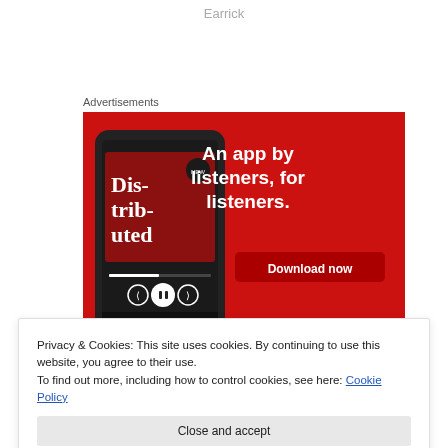Earrick
Advertisements
[Figure (photo): Red advertisement banner for a podcast app showing a smartphone displaying a podcast called 'Dis-trib-uted', with text 'An app by listeners, for listeners.' and a 'Download now' button.]
Privacy & Cookies: This site uses cookies. By continuing to use this website, you agree to their use.
To find out more, including how to control cookies, see here: Cookie Policy
Close and accept
Dunning and Ehringer showed that people's views of